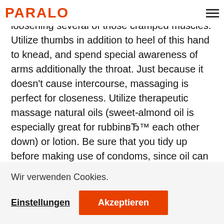PARALO
other down with therapeutic massage oil and loosening several of those cramped muscles. Utilize thumbs in addition to heel of this hand to knead, and spend special awareness of arms additionally the throat. Just because it doesn't cause intercourse, massaging is perfect for closeness. Utilize therapeutic massage natural oils (sweet-almond oil is especially great for rubbingвЂ™ each other down) or lotion. Be sure that you tidy up before making use of condoms, since oil can break down latex. Temperature: Minor
Picture courtesy
Intercourse journeys. Annoyed of this bed room? Discover some other place to have it in! Arrange a spring break
Wir verwenden Cookies.
Einstellungen
Akzeptieren